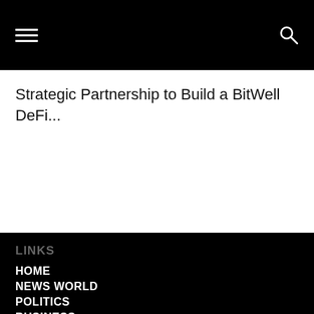Strategic Partnership to Build a BitWell DeFi...
LINKS
HOME
NEWS WORLD
POLITICS
BUSINESS
TECHNOLOGY
ENTERTAINMENT
SPORTS